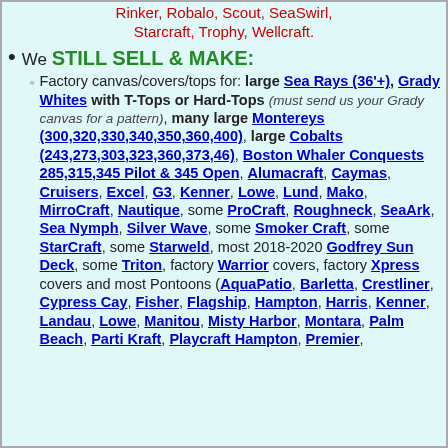Rinker, Robalo, Scout, SeaSwirl, Starcraft, Trophy, Wellcraft.
We STILL SELL & MAKE:
Factory canvas/covers/tops for: large Sea Rays (36'+), Grady Whites with T-Tops or Hard-Tops (must send us your Grady canvas for a pattern), many large Montereys (300,320,330,340,350,360,400), large Cobalts (243,273,303,323,360,373,46), Boston Whaler Conquests 285,315,345 Pilot & 345 Open, Alumacraft, Caymas, Cruisers, Excel, G3, Kenner, Lowe, Lund, Mako, MirroCraft, Nautique, some ProCraft, Roughneck, SeaArk, Sea Nymph, Silver Wave, some Smoker Craft, some StarCraft, some Starweld, most 2018-2020 Godfrey Sun Deck, some Triton, factory Warrior covers, factory Xpress covers and most Pontoons (AquaPatio, Barletta, Crestliner, Cypress Cay, Fisher, Flagship, Hampton, Harris, Kenner, Landau, Lowe, Manitou, Misty Harbor, Montara, Palm Beach, Parti Kraft, Playcraft Hampton, Premier, ...